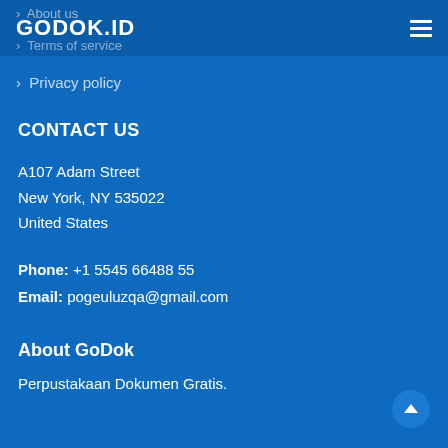GODOK.ID
> About us
> Terms of service
> Privacy policy
CONTACT US
A107 Adam Street
New York, NY 535022
United States
Phone: +1 5545 66488 55
Email: pogeuluzqa@gmail.com
About GoDok
Perpustakaan Dokumen Gratis.